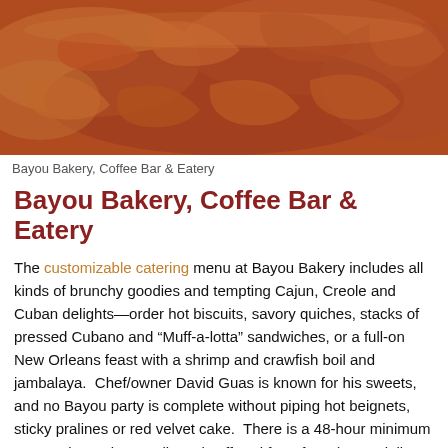[Figure (photo): Close-up photo of cooked shrimp and crawfish, reddish-orange shellfish on a white surface]
Bayou Bakery, Coffee Bar & Eatery
Bayou Bakery, Coffee Bar & Eatery
The customizable catering menu at Bayou Bakery includes all kinds of brunchy goodies and tempting Cajun, Creole and Cuban delights—order hot biscuits, savory quiches, stacks of pressed Cubano and “Muff-a-lotta” sandwiches, or a full-on New Orleans feast with a shrimp and crawfish boil and jambalaya. Chef/owner David Guas is known for his sweets, and no Bayou party is complete without piping hot beignets, sticky pralines or red velvet cake. There is a 48-hour minimum on catering orders. Delivery is offered for a fee. (Note: delivery beyond the Greater Washington area for $1515 M